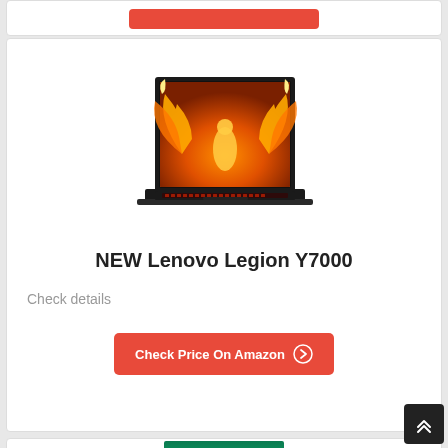[Figure (photo): Partially visible top card with a red button at the bottom]
[Figure (photo): Lenovo Legion Y7000 gaming laptop shown open with a phoenix/eagle with fire wings displayed on screen, black body with red keyboard backlighting]
NEW Lenovo Legion Y7000
Check details
Check Price On Amazon
[Figure (photo): Partially visible bottom product card showing a laptop with green/teal display]
[Figure (other): Scroll to top button (dark square with chevron up arrows) in bottom right corner]